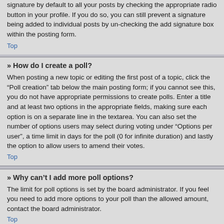signature by default to all your posts by checking the appropriate radio button in your profile. If you do so, you can still prevent a signature being added to individual posts by un-checking the add signature box within the posting form.
Top
» How do I create a poll?
When posting a new topic or editing the first post of a topic, click the “Poll creation” tab below the main posting form; if you cannot see this, you do not have appropriate permissions to create polls. Enter a title and at least two options in the appropriate fields, making sure each option is on a separate line in the textarea. You can also set the number of options users may select during voting under “Options per user”, a time limit in days for the poll (0 for infinite duration) and lastly the option to allow users to amend their votes.
Top
» Why can’t I add more poll options?
The limit for poll options is set by the board administrator. If you feel you need to add more options to your poll than the allowed amount, contact the board administrator.
Top
» How do I edit or delete a poll?
As with posts, polls can only be edited by the original poster, a moderator or an administrator. To edit a poll, click to edit the first